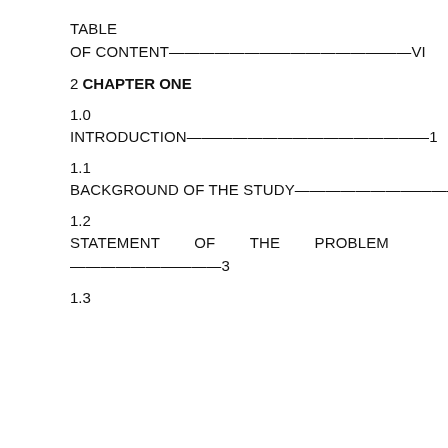TABLE
OF CONTENT——————————————VI
2 CHAPTER ONE
1.0
INTRODUCTION————————————————1
1.1
BACKGROUND OF THE STUDY————————————2
1.2
STATEMENT        OF        THE        PROBLEM ——————————3
1.3